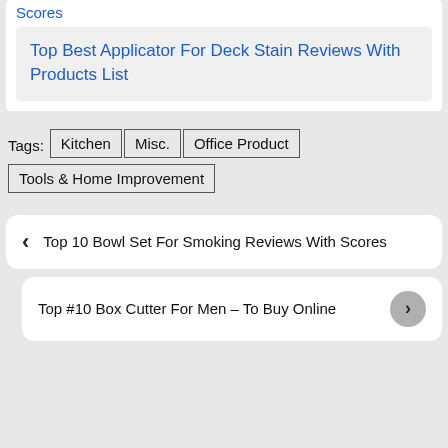Scores
Top Best Applicator For Deck Stain Reviews With Products List
Tags: Kitchen | Misc. | Office Product | Tools & Home Improvement
‹ Top 10 Bowl Set For Smoking Reviews With Scores
Top #10 Box Cutter For Men – To Buy Online ›